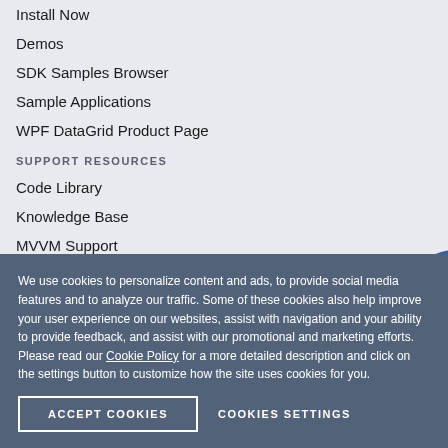Install Now
Demos
SDK Samples Browser
Sample Applications
WPF DataGrid Product Page
SUPPORT RESOURCES
Code Library
Knowledge Base
MVVM Support
Videos
GitHub SDK Repository
We use cookies to personalize content and ads, to provide social media features and to analyze our traffic. Some of these cookies also help improve your user experience on our websites, assist with navigation and your ability to provide feedback, and assist with our promotional and marketing efforts. Please read our Cookie Policy for a more detailed description and click on the settings button to customize how the site uses cookies for you.
ACCEPT COOKIES
COOKIES SETTINGS